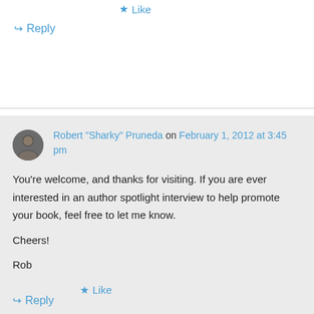★ Like
↪ Reply
Robert "Sharky" Pruneda on February 1, 2012 at 3:45 pm
You're welcome, and thanks for visiting. If you are ever interested in an author spotlight interview to help promote your book, feel free to let me know.

Cheers!

Rob
★ Like
↪ Reply